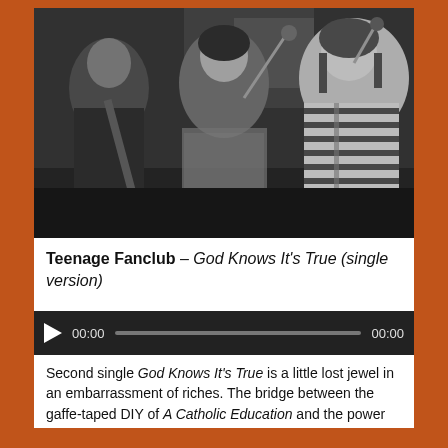[Figure (photo): Black and white photograph of Teenage Fanclub band members playing instruments in a rehearsal space, with posters on the wall behind them. Three members visible: one on left with guitar in black turtleneck, one in center with plaid shirt at microphone, one on right in striped shirt singing into microphone.]
Teenage Fanclub – God Knows It's True (single version)
[Figure (other): Audio player bar with play button, 00:00 start time, progress bar, and 00:00 end time on dark background.]
Second single God Knows It's True is a little lost jewel in an embarrassment of riches. The bridge between the gaffe-taped DIY of A Catholic Education and the power